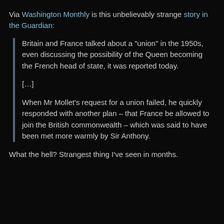Via Washington Monthly is this unbelievably strange story in the Guardian:
Britain and France talked about a "union" in the 1950s, even discussing the possibility of the Queen becoming the French head of state, it was reported today.

[…]

When Mr Mollet's request for a union failed, he quickly responded with another plan – that France be allowed to join the British commonwealth – which was said to have been met more warmly by Sir Anthony.
What the hell? Strangest thing I've seen in months.